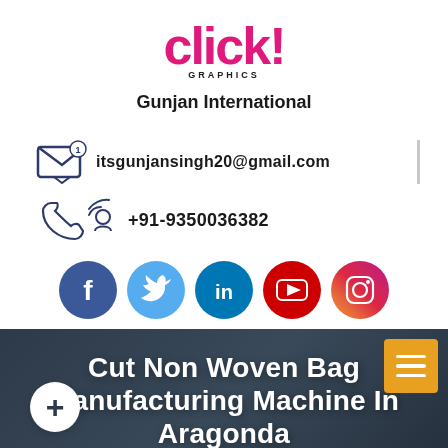[Figure (logo): Click! Graphics / Gunjan International logo with pink 'click!' text and 'GRAPHICS' subtitle and 'Gunjan International' below]
itsgunjansingh20@gmail.com
+91-9350036382
[Figure (infographic): Social media icons row: Facebook, Twitter, LinkedIn, YouTube, Instagram]
Cut Non Woven Bag Manufacturing Machine In Aragonda
Home  |